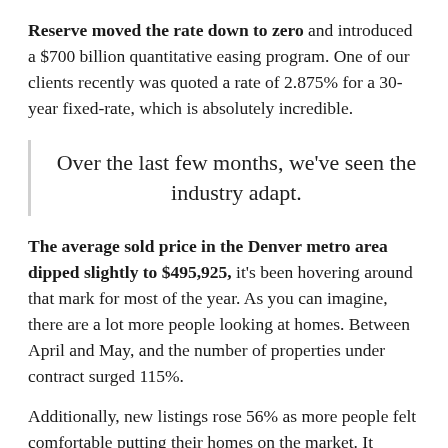Reserve moved the rate down to zero and introduced a $700 billion quantitative easing program. One of our clients recently was quoted a rate of 2.875% for a 30-year fixed-rate, which is absolutely incredible.
Over the last few months, we've seen the industry adapt.
The average sold price in the Denver metro area dipped slightly to $495,925, it's been hovering around that mark for most of the year. As you can imagine, there are a lot more people looking at homes. Between April and May, and the number of properties under contract surged 115%.
Additionally, new listings rose 56% as more people felt comfortable putting their homes on the market. It should be